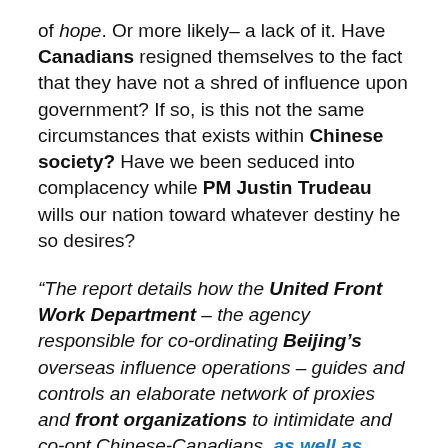of hope. Or more likely– a lack of it. Have Canadians resigned themselves to the fact that they have not a shred of influence upon government? If so, is this not the same circumstances that exists within Chinese society? Have we been seduced into complacency while PM Justin Trudeau wills our nation toward whatever destiny he so desires?
“The report details how the United Front Work Department – the agency responsible for co-ordinating Beijing's overseas influence operations – guides and controls an elaborate network of proxies and front organizations to intimidate and co-opt Chinese-Canadians, as well as politicians, academics and business